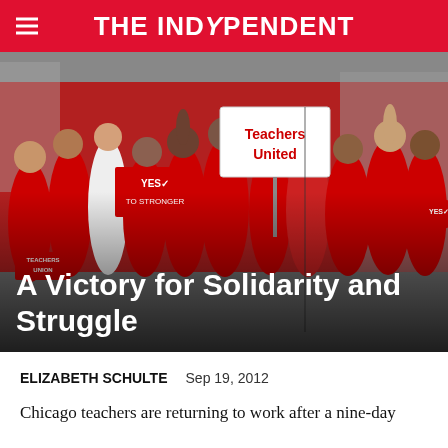THE INDYPENDENT
[Figure (photo): Crowd of teachers in red shirts marching, holding signs including 'Teachers United' and 'YES to STRONGER' signs]
A Victory for Solidarity and Struggle
ELIZABETH SCHULTE   Sep 19, 2012
Chicago teachers are returning to work after a nine-day strike, having won a better contract and a new sense of power and organization.